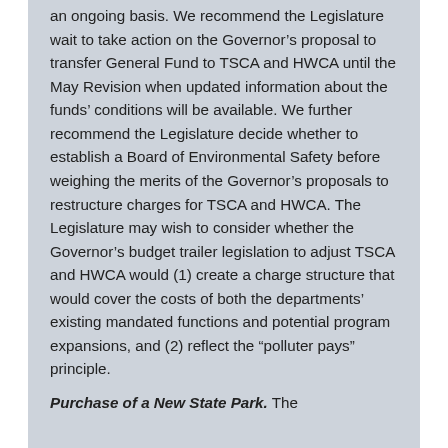an ongoing basis. We recommend the Legislature wait to take action on the Governor's proposal to transfer General Fund to TSCA and HWCA until the May Revision when updated information about the funds' conditions will be available. We further recommend the Legislature decide whether to establish a Board of Environmental Safety before weighing the merits of the Governor's proposals to restructure charges for TSCA and HWCA. The Legislature may wish to consider whether the Governor's budget trailer legislation to adjust TSCA and HWCA would (1) create a charge structure that would cover the costs of both the departments' existing mandated functions and potential program expansions, and (2) reflect the “polluter pays” principle.
Purchase of a New State Park. The